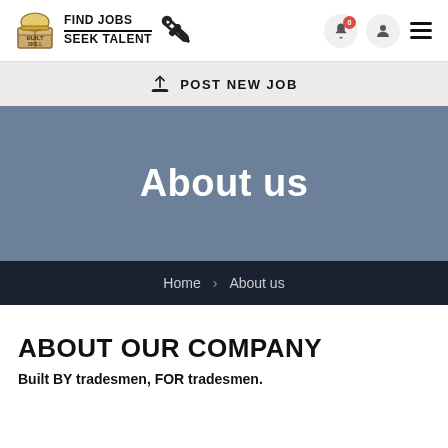FIND JOBS / SEEK TALENT — BuiltSkill logo with tools icon, navigation icons
POST NEW JOB
About us
Home > About us
ABOUT OUR COMPANY
Built BY tradesmen, FOR tradesmen.